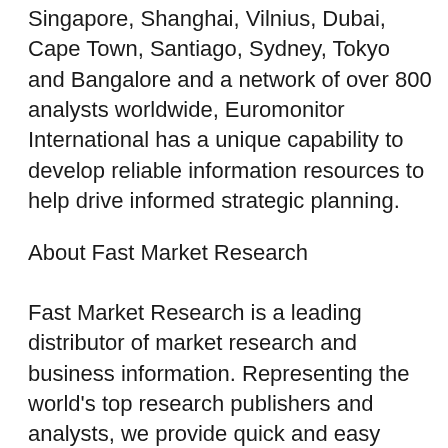Singapore, Shanghai, Vilnius, Dubai, Cape Town, Santiago, Sydney, Tokyo and Bangalore and a network of over 800 analysts worldwide, Euromonitor International has a unique capability to develop reliable information resources to help drive informed strategic planning.
About Fast Market Research
Fast Market Research is a leading distributor of market research and business information. Representing the world's top research publishers and analysts, we provide quick and easy access to the best competitive intelligence available. Our unbiased, expert staff is always available to help you find the right research to fit your requirements